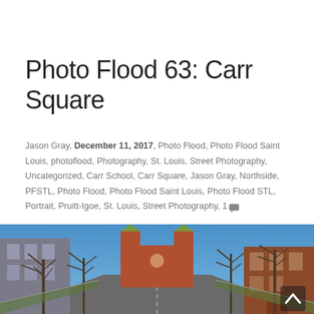Photo Flood 63: Carr Square
Jason Gray, December 11, 2017, Photo Flood, Photo Flood Saint Louis, photoflood, Photography, St. Louis, Street Photography, Uncategorized, Carr School, Carr Square, Jason Gray, Northside, PFSTL, Photo Flood, Photo Flood Saint Louis, Photo Flood STL, Portrait, Pruitt-Igoe, St. Louis, Street Photography, 1
[Figure (photo): Wide-angle street photograph of Carr Square neighborhood in St. Louis, showing a brick church with two towers at the end of a street, bare winter trees on both sides, residential brick buildings, and a clear blue sky.]